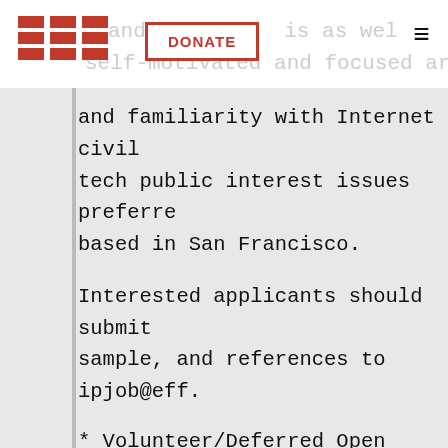EFF | DONATE
and familiarity with Internet civil tech public interest issues preferre based in San Francisco.
Interested applicants should submit sample, and references to ipjob@eff.
* Volunteer/Deferred Open Government
Dream fellowship alert:  EFF has a o associate or a full-time volunteer t open government work, the FOIA Litig